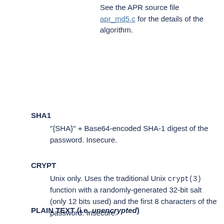See the APR source file apr_md5.c for the details of the algorithm.
SHA1
"{SHA}" + Base64-encoded SHA-1 digest of the password. Insecure.
CRYPT
Unix only. Uses the traditional Unix crypt(3) function with a randomly-generated 32-bit salt (only 12 bits used) and the first 8 characters of the password. Insecure.
PLAIN TEXT (i.e. unencrypted)